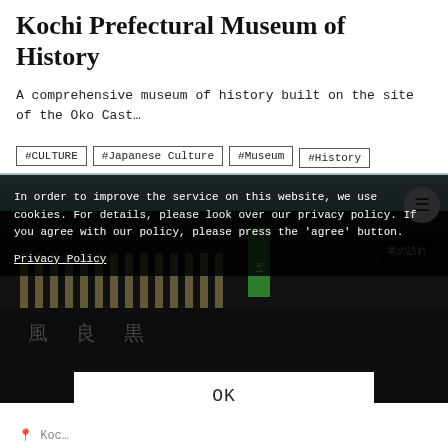Kochi Prefectural Museum of History
A comprehensive museum of history built on the site of the Oko Cast…
#CULTURE
#Japanese Culture
#Museum
#History
[Figure (photo): Photo of the Kochi Prefectural Museum of History building exterior, a dark traditional Japanese-style structure with columns and signage]
In order to improve the service on this website, we use cookies. For details, please look over our privacy policy. If you agree with our policy, please press the 'agree' button.
Privacy Policy
OK